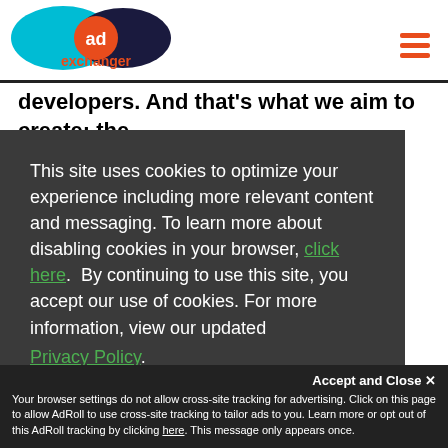[Figure (logo): AdExchanger logo with cyan and dark blue overlapping ellipses and orange circle with 'ad' text, plus 'exchanger' text in orange]
developers. And that's what we aim to create: the
This site uses cookies to optimize your experience including more relevant content and messaging. To learn more about disabling cookies in your browser, click here. By continuing to use this site, you accept our use of cookies. For more information, view our updated Privacy Policy.
n data
l, so
ir
the
I consent
Accept and Close ✕
Your browser settings do not allow cross-site tracking for advertising. Click on this page to allow AdRoll to use cross-site tracking to tailor ads to you. Learn more or opt out of this AdRoll tracking by clicking here. This message only appears once.
own workhow it they want, as opposed to being